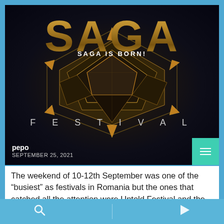[Figure (photo): SAGA Festival logo on dark background with gold 3D geometric crystal shape. Text 'SAGA IS BORN!' overlaid in white, large gold 'SAGA' text at top, 'FESTIVAL' in spaced letters below.]
pepo
SEPTEMBER 25, 2021
The weekend of 10-12th September was one of the “busiest” as festivals in Romania but the ones that catched all the attention were Untold Festival and the new SAGA Festival. One held in the beautiful city Cluj-Napoca and the other one in the capital Bucharest. We’ll start to say that Romania is
search | next